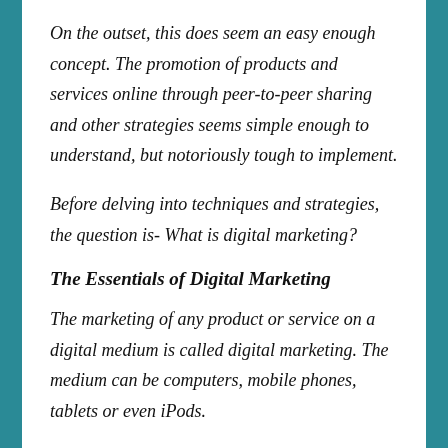On the outset, this does seem an easy enough concept. The promotion of products and services online through peer-to-peer sharing and other strategies seems simple enough to understand, but notoriously tough to implement.
Before delving into techniques and strategies, the question is- What is digital marketing?
The Essentials of Digital Marketing
The marketing of any product or service on a digital medium is called digital marketing. The medium can be computers, mobile phones, tablets or even iPods.